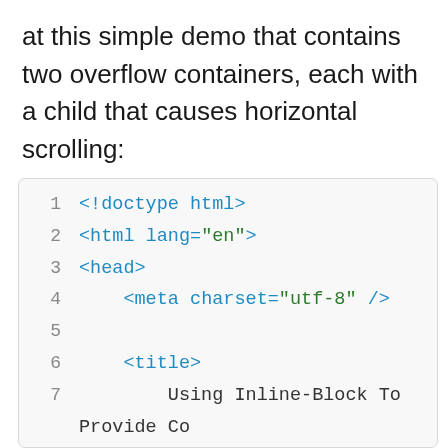at this simple demo that contains two overflow containers, each with a child that causes horizontal scrolling:
[Figure (screenshot): Code editor screenshot showing HTML boilerplate lines 1-13, with syntax highlighting: tags in blue, attribute values in green, plain text in dark gray, line numbers in gray.]